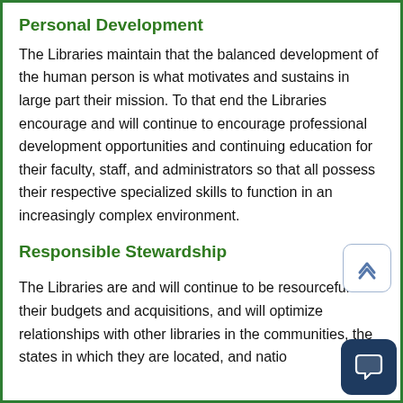Personal Development
The Libraries maintain that the balanced development of the human person is what motivates and sustains in large part their mission. To that end the Libraries encourage and will continue to encourage professional development opportunities and continuing education for their faculty, staff, and administrators so that all possess their respective specialized skills to function in an increasingly complex environment.
Responsible Stewardship
The Libraries are and will continue to be resourceful with their budgets and acquisitions, and will optimize relationships with other libraries in the communities, the states in which they are located, and nationally…